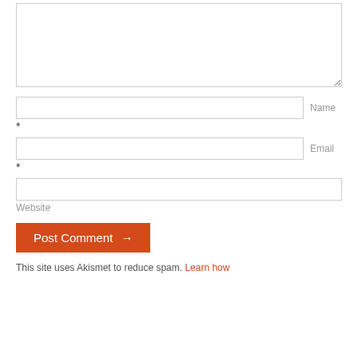[Figure (other): Comment form textarea (large text area input)]
Name *
Email *
Website
Post Comment →
This site uses Akismet to reduce spam. Learn how